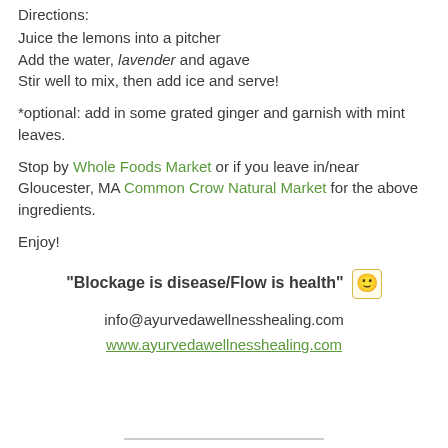Directions:
Juice the lemons into a pitcher
Add the water, lavender and agave
Stir well to mix, then add ice and serve!
*optional: add in some grated ginger and garnish with mint leaves.
Stop by Whole Foods Market or if you leave in/near Gloucester, MA Common Crow Natural Market for the above ingredients.
Enjoy!
“Blockage is disease/Flow is health” 🙂
info@ayurvedawellnesshealing.com
www.ayurvedawellnesshealing.com